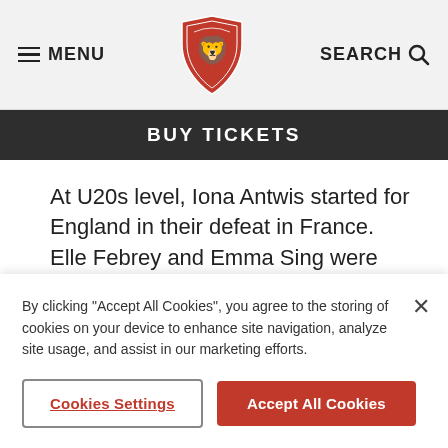MENU | [Gloucester Rugby Logo] | SEARCH
BUY TICKETS
At U20s level, Iona Antwis started for England in their defeat in France. Elle Febrey and Emma Sing were both replacements, Emma kicking a conversion.
Finally, Jake Polledri was a late call-up for Italy
By clicking “Accept All Cookies”, you agree to the storing of cookies on your device to enhance site navigation, analyze site usage, and assist in our marketing efforts.
Cookies Settings
Accept All Cookies